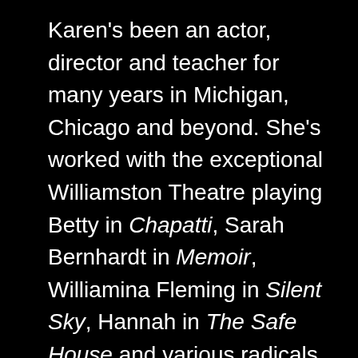Karen's been an actor, director and teacher for many years in Michigan, Chicago and beyond. She's worked with the exceptional Williamston Theatre playing Betty in Chapatti, Sarah Bernhardt in Memoir, Williamina Fleming in Silent Sky, Hannah in The Safe House and various radicals in 900 Miles to International Falls. Karen performed outdoors as Dogberry in Much Ado About Nothing with the new Fenton Shakespeare Festival in 2021. Other Michigan credits: The Beauty Queen of Leenane (Detroit Public Theatre); Boeing Boeing, Dancing at Lughnasa and Angels in America (Meadow Brook Theatre); beauHouse with